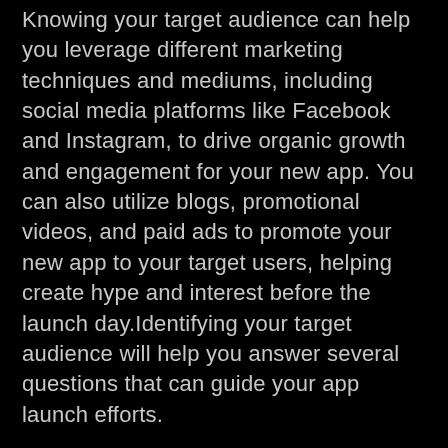Knowing your target audience can help you leverage different marketing techniques and mediums, including social media platforms like Facebook and Instagram, to drive organic growth and engagement for your new app. You can also utilize blogs, promotional videos, and paid ads to promote your new app to your target users, helping create hype and interest before the launch day.Identifying your target audience will help you answer several questions that can guide your app launch efforts.